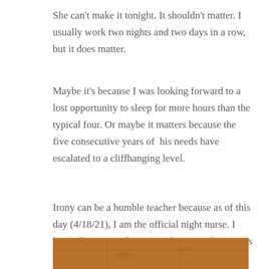She can't make it tonight. It shouldn't matter. I usually work two nights and two days in a row, but it does matter.
Maybe it's because I was looking forward to a lost opportunity to sleep for more hours than the typical four. Or maybe it matters because the five consecutive years of his needs have escalated to a cliffhanging level.
Irony can be a humble teacher because as of this day (4/18/21), I am the official night nurse. I have all seven nights to watch. My night nurse is now the day nurse. Life has a funny way of teaching us to appreciate the situation present because life happens.
[Figure (photo): Bottom portion of a photo showing a wooden surface or table, warm brown tones]